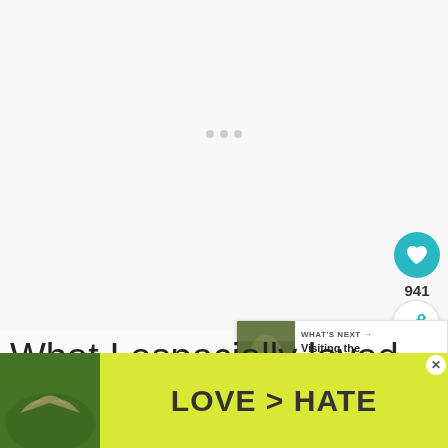[Figure (photo): Large faded/light photo area at top of page, mostly white/grey]
[Figure (screenshot): UI element: teal circular heart/like button showing count 941 and a share button below]
[Figure (screenshot): WHAT'S NEXT panel with thumbnail and title 'Visiting the Fantastic...']
What I especially loved was the variety of play areas here. There were are about
[Figure (photo): Advertisement overlay at bottom: hands forming heart shape on left, yellow-green background with text LOVE > HATE, close X button]